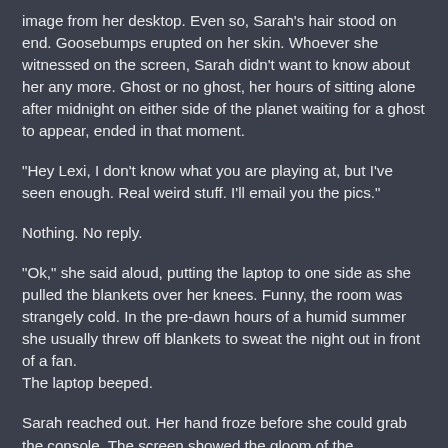image from her desktop. Even so, Sarah's hair stood on end. Goosebumps erupted on her skin. Whoever she witnessed on the screen, Sarah didn't want to know about her any more. Ghost or no ghost, her hours of sitting alone after midnight on either side of the planet waiting for a ghost to appear, ended in that moment.
“Hey Lexi, I don't know what you are playing at, but I’ve seen enough. Real weird stuff. I’ll email you the pics.”
Nothing. No reply.
“Ok,” she said aloud, putting the laptop to one side as she pulled the blankets over her knees. Funny, the room was strangely cold. In the pre-dawn hours of a humid summer she usually threw off blankets to sweat the night out in front of a fan.
The laptop beeped.
Sarah reached out. Her hand froze before she could grab the console. The screen showed the gloom of the storeroom.